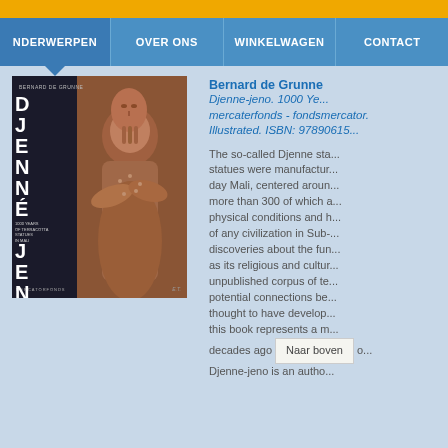NDERWERPEN | OVER ONS | WINKELWAGEN | CONTACT
[Figure (photo): Book cover of Djenne-jeno by Bernard de Grunne, showing a terracotta statue against a dark background with large white block letters spelling DJENNE JENO vertically]
Bernard de Grunne
Djenne-jeno. 1000 Ye... mercaterfonds - fondsmercator. Illustrated. ISBN: 978906151...
The so-called Djenne statues were manufactured in present-day Mali, centered around more than 300 of which are physical conditions and history of any civilization in Sub-discoveries about the function as its religious and cultural unpublished corpus of terracotta potential connections be thought to have develop this book represents a m decades ago Djenne-jeno is an autho